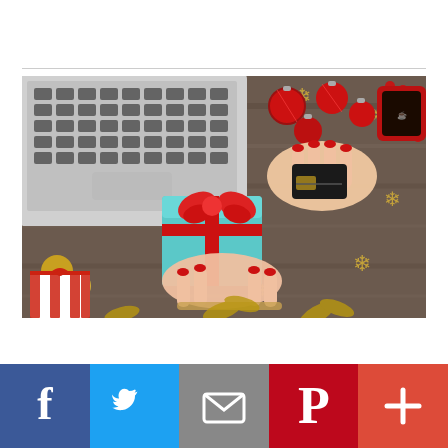[Figure (photo): Overhead view of a woman's hands holding a teal gift box with red ribbon bow and holding a credit card, next to an open laptop, red Christmas ornaments, gold snowflake decorations, gold ornament balls, a red mug with coffee, red striped gift, and red bead garland on a dark wood surface.]
[Figure (infographic): Social media sharing bar with five buttons: Facebook (dark blue, 'f' icon), Twitter (light blue, bird icon), Email (grey, envelope icon), Pinterest (red, 'P' icon), More/Plus (red-orange, '+' icon).]